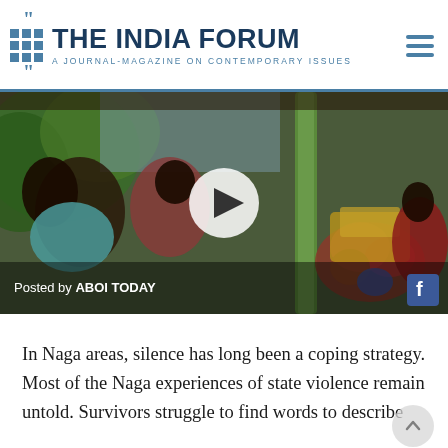THE INDIA FORUM — A JOURNAL-MAGAZINE ON CONTEMPORARY ISSUES
[Figure (photo): Video thumbnail showing Naga women at a memorial setting with flowers and bamboo structures. A play button overlay is visible. Bottom overlay text reads 'Posted by ABOI TODAY' with a Facebook icon.]
In Naga areas, silence has long been a coping strategy. Most of the Naga experiences of state violence remain untold. Survivors struggle to find words to describe